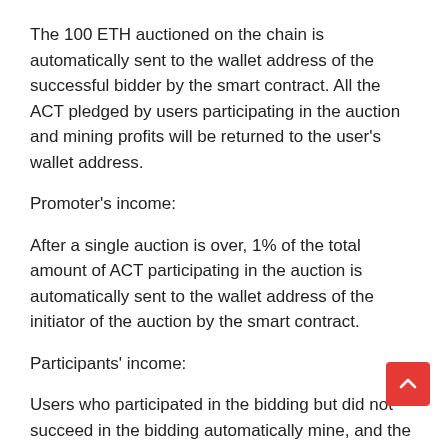The 100 ETH auctioned on the chain is automatically sent to the wallet address of the successful bidder by the smart contract. All the ACT pledged by users participating in the auction and mining profits will be returned to the user's wallet address.
Promoter's income:
After a single auction is over, 1% of the total amount of ACT participating in the auction is automatically sent to the wallet address of the initiator of the auction by the smart contract.
Participants' income:
Users who participated in the bidding but did not succeed in the bidding automatically mine, and the mining income is not fixed, and it is estimated that 2 to 3 points. Auction is mining.
Promotion reward: